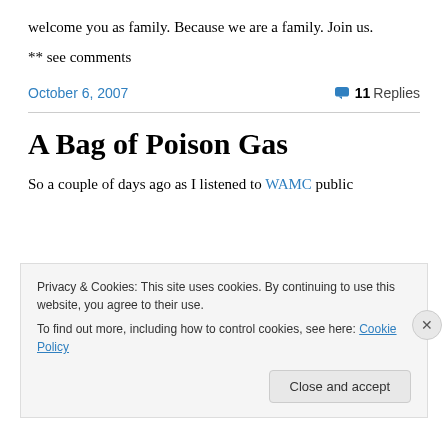welcome you as family.
Because we are a family. Join us.
** see comments
October 6, 2007
11 Replies
A Bag of Poison Gas
So a couple of days ago as I listened to WAMC public
Privacy & Cookies: This site uses cookies. By continuing to use this website, you agree to their use.
To find out more, including how to control cookies, see here: Cookie Policy
Close and accept